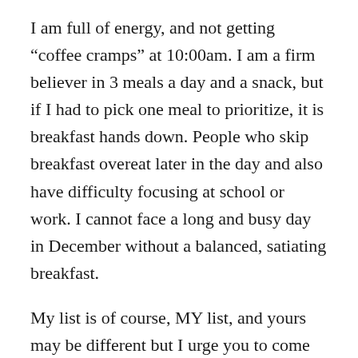I am full of energy, and not getting “coffee cramps” at 10:00am. I am a firm believer in 3 meals a day and a snack, but if I had to pick one meal to prioritize, it is breakfast hands down. People who skip breakfast overeat later in the day and also have difficulty focusing at school or work. I cannot face a long and busy day in December without a balanced, satiating breakfast.
My list is of course, MY list, and yours may be different but I urge you to come up with your own list of 4 or 5 items that are “non-negotiables” for you before New Year’s Day. Time is scarce but knowing what you need to feel “balanced” is too important to